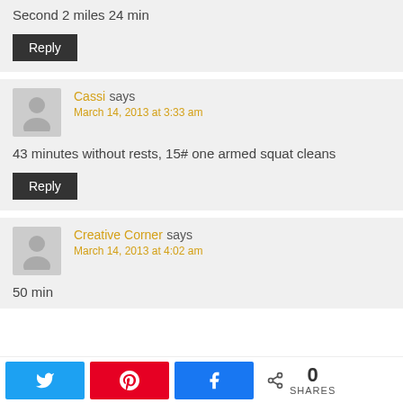Second 2 miles 24 min
Reply
Cassi says
March 14, 2013 at 3:33 am
43 minutes without rests, 15# one armed squat cleans
Reply
Creative Corner says
March 14, 2013 at 4:02 am
50 min
0 SHARES